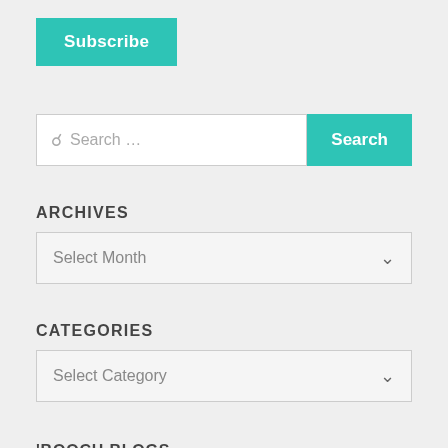Subscribe
Search …
Search
ARCHIVES
Select Month
CATEGORIES
Select Category
'BOOCH BLOGS
Baerbucha Kombucha